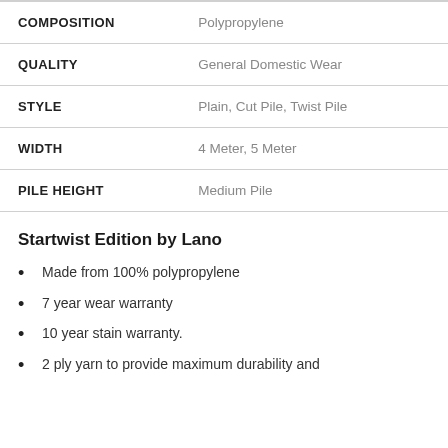| Label | Value |
| --- | --- |
| COMPOSITION | Polypropylene |
| QUALITY | General Domestic Wear |
| STYLE | Plain, Cut Pile, Twist Pile |
| WIDTH | 4 Meter, 5 Meter |
| PILE HEIGHT | Medium Pile |
Startwist Edition by Lano
Made from 100% polypropylene
7 year wear warranty
10 year stain warranty.
2 ply yarn to provide maximum durability and